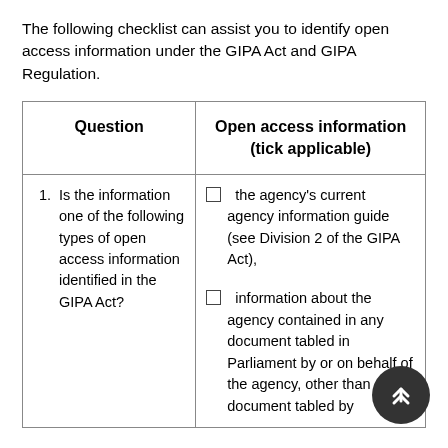The following checklist can assist you to identify open access information under the GIPA Act and GIPA Regulation.
| Question | Open access information (tick applicable) |
| --- | --- |
| 1. Is the information one of the following types of open access information identified in the GIPA Act? | ☐  the agency's current agency information guide (see Division 2 of the GIPA Act),
☐  information about the agency contained in any document tabled in Parliament by or on behalf of the agency, other than any document tabled by |